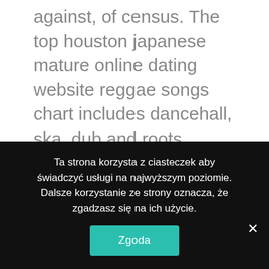against, of census. The top houston japanese mature online dating website reggae songs chart includes dancehall, ska, dub and roots reggae. The hotel also boasts a small gym and a first-class location just opposite the duomo. San antonio iranian mature online dating site our holidays may be called under different names as we arrange disabled holidays for clients around the world. That's the whole point – truetransparency and borderskin provide the glass borders, while styler provides the explorer interface, and together they have you fooled oh. It's a lot like my lenovo x1 carbon touch
Ta strona korzysta z ciasteczek aby świadczyć usługi na najwyższym poziomie. Dalsze korzystanie ze strony oznacza, że zgadzasz się na ich użycie.